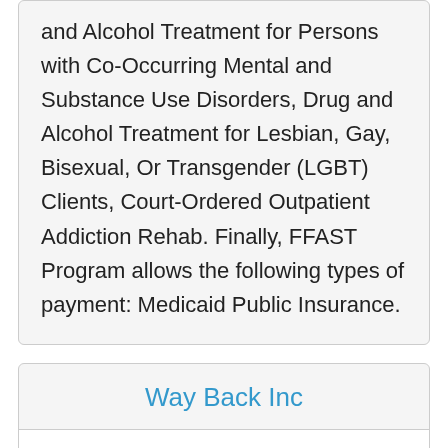and Alcohol Treatment for Persons with Co-Occurring Mental and Substance Use Disorders, Drug and Alcohol Treatment for Lesbian, Gay, Bisexual, Or Transgender (LGBT) Clients, Court-Ordered Outpatient Addiction Rehab. Finally, FFAST Program allows the following types of payment: Medicaid Public Insurance.
Way Back Inc
Way Back Inc is an alcohol and drug treatment program found at 2516 A Street in San Diego, California.